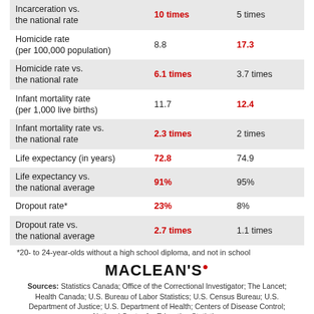|  | Col1 | Col2 |
| --- | --- | --- |
| Incarceration vs. the national rate | 10 times | 5 times |
| Homicide rate (per 100,000 population) | 8.8 | 17.3 |
| Homicide rate vs. the national rate | 6.1 times | 3.7 times |
| Infant mortality rate (per 1,000 live births) | 11.7 | 12.4 |
| Infant mortality rate vs. the national rate | 2.3 times | 2 times |
| Life expectancy (in years) | 72.8 | 74.9 |
| Life expectancy vs. the national average | 91% | 95% |
| Dropout rate* | 23% | 8% |
| Dropout rate vs. the national average | 2.7 times | 1.1 times |
*20- to 24-year-olds without a high school diploma, and not in school
[Figure (logo): Maclean's magazine logo]
Sources: Statistics Canada; Office of the Correctional Investigator; The Lancet; Health Canada; U.S. Bureau of Labor Statistics; U.S. Census Bureau; U.S. Department of Justice; U.S. Department of Health; Centers of Disease Control; National Center for Education Statistics
Or it could be because we simply do not see the forest for